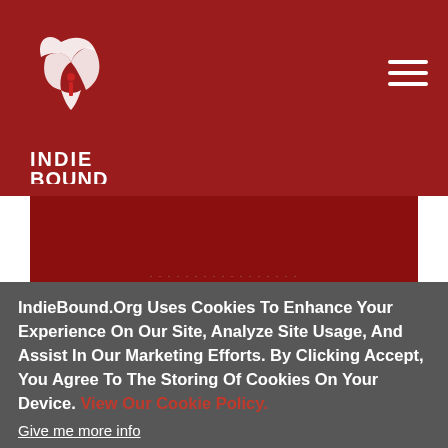IndieBound
[Figure (screenshot): IndieBound website header with dark red background, IndieBound logo (white bird/book icon with INDIE BOUND text) on left, and hamburger menu icon on top right.]
[Figure (screenshot): Book cover image area with dark red background, faint text line and two orange underline bars visible.]
The Social Importance Of Self-Esteem
IndieBound.Org Uses Cookies To Enhance Your Experience On Our Site, Analyze Site Usage, And Assist In Our Marketing Efforts. By Clicking Accept, You Agree To The Storing Of Cookies On Your Device. View Our Cookie Policy.
Give me more info